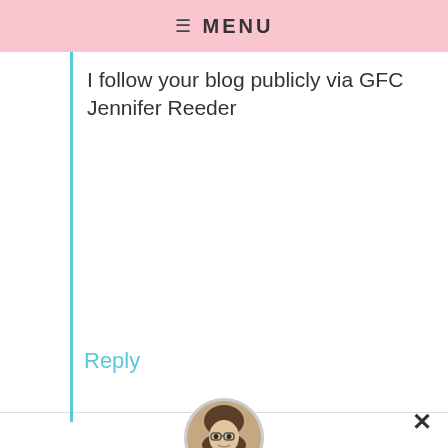≡  MENU
I follow your blog publicly via GFC Jennifer Reeder
Reply
[Figure (photo): Circular avatar photo of Robyn Huffman, a person with glasses]
BY ROBYN HUFFMAN
Show appreciation for this content by sending the creator a free or paid sticker.
[Figure (infographic): Row of stickers with prices: Free (party/star icons), $1.00 (green dinosaur), $2.00 (gold origami crane), $4.00 (blue robot), $8.00 (blue knit sock), $12.00 (flower bouquet)]